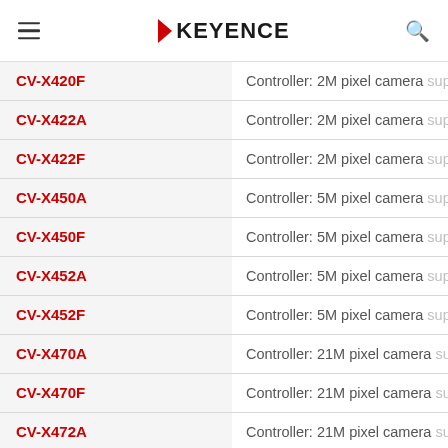KEYENCE
| Product | Description |
| --- | --- |
| CV-X420F | Controller: 2M pixel camera support |
| CV-X422A | Controller: 2M pixel camera support |
| CV-X422F | Controller: 2M pixel camera support |
| CV-X450A | Controller: 5M pixel camera support |
| CV-X450F | Controller: 5M pixel camera support |
| CV-X452A | Controller: 5M pixel camera support |
| CV-X452F | Controller: 5M pixel camera support |
| CV-X470A | Controller: 21M pixel camera support |
| CV-X470F | Controller: 21M pixel camera support |
| CV-X472A | Controller: 21M pixel camera support |